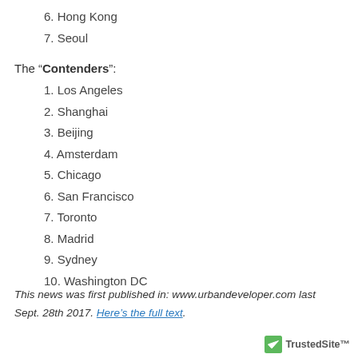6. Hong Kong
7. Seoul
The “Contenders”:
1. Los Angeles
2. Shanghai
3. Beijing
4. Amsterdam
5. Chicago
6. San Francisco
7. Toronto
8. Madrid
9. Sydney
10. Washington DC
This news was first published in: www.urbandeveloper.com last Sept. 28th 2017. Here’s the full text.